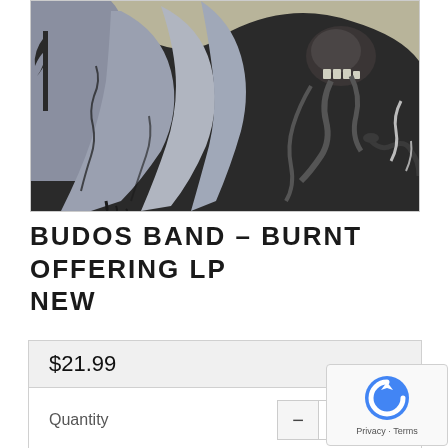[Figure (illustration): Dark fantasy album artwork showing a large creature/monster with feathered or flowing wings in grey and white tones, skulls, tentacles and snakes visible, set against a dark background. Black ink illustration style.]
BUDOS BAND - BURNT OFFERING LP NEW
$21.99
Quantity
1
only 1 left i...